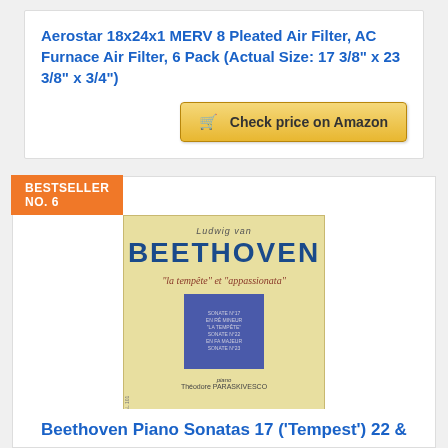Aerostar 18x24x1 MERV 8 Pleated Air Filter, AC Furnace Air Filter, 6 Pack (Actual Size: 17 3/8" x 23 3/8" x 3/4")
Check price on Amazon
BESTSELLER NO. 6
[Figure (photo): Beethoven piano sonatas album cover - cream/tan background with 'Ludwig van BEETHOVEN' text and subtitle 'la tempête et appassionata', featuring a blue inset image of pianist Théodore Paraskivesco]
Beethoven Piano Sonatas 17 ('Tempest') 22 &